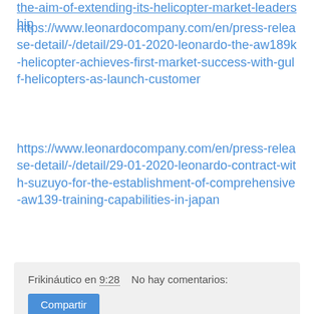the-aim-of-extending-its-helicopter-market-leadership
https://www.leonardocompany.com/en/press-release-detail/-/detail/29-01-2020-leonardo-the-aw189k-helicopter-achieves-first-market-success-with-gulf-helicopters-as-launch-customer
https://www.leonardocompany.com/en/press-release-detail/-/detail/29-01-2020-leonardo-contract-with-suzuyo-for-the-establishment-of-comprehensive-aw139-training-capabilities-in-japan
Frikináutico en 9:28    No hay comentarios:
Compartir
Bell Revamps Nexus as Four-rotor eVTOL